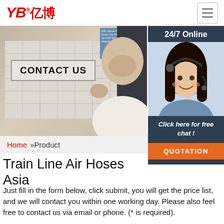[Figure (logo): YB 亿博 company logo in red italic style with registered trademark symbol]
[Figure (photo): Trade show booth with CONTACT US sign, man giving thumbs up, and 24/7 Online customer service woman with headset on right side panel with QUOTATION button]
Home »Product
Train Line Air Hoses Asia
Just fill in the form below, click submit, you will get the price list, and we will contact you within one working day. Please also feel free to contact us via email or phone. (* is required).
* Name: